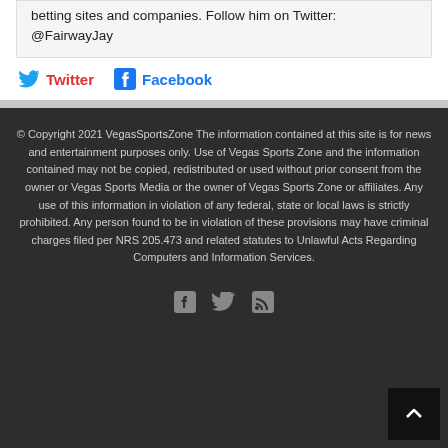betting sites and companies. Follow him on Twitter: @FairwayJay
Twitter  Facebook
© Copyright 2021 VegasSportsZone The information contained at this site is for news and entertainment purposes only. Use of Vegas Sports Zone and the information contained may not be copied, redistributed or used without prior consent from the owner or Vegas Sports Media or the owner of Vegas Sports Zone or affiliates. Any use of this information in violation of any federal, state or local laws is strictly prohibited. Any person found to be in violation of these provisions may have criminal charges filed per NRS 205.473 and related statutes to Unlawful Acts Regarding Computers and Information Services.
[Figure (infographic): Footer social icons: Facebook, Twitter, RSS feed icons centered, and a back-to-top button in bottom right corner]